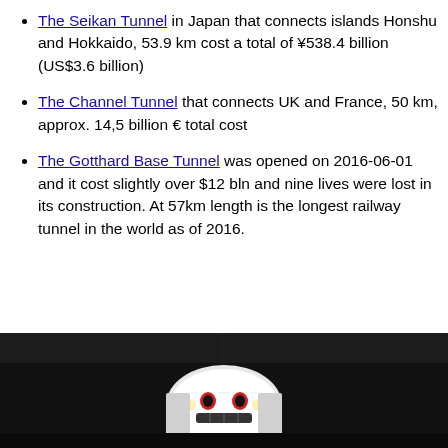The Seikan Tunnel in Japan that connects islands Honshu and Hokkaido, 53.9 km cost a total of ¥538.4 billion (US$3.6 billion)
The Channel Tunnel that connects UK and France, 50 km, approx. 14,5 billion € total cost
The Gotthard Base Tunnel was opened on 2016-06-01 and it cost slightly over $12 bln and nine lives were lost in its construction. At 57km length is the longest railway tunnel in the world as of 2016.
[Figure (photo): Dark photograph showing the front of a train or tunnel boring machine in low light, with a white cylindrical nose piece decorated with a painted design/face, set against a dark tunnel or rail environment.]